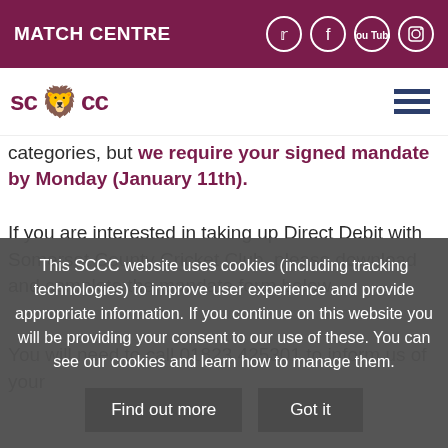MATCH CENTRE
[Figure (logo): SCCC Somerset County Cricket Club logo with lion emblem]
categories, but we require your signed mandate by Monday (January 11th).
If you are interested in taking up Direct Debit with Somerset County Cricket Club, please download and complete the mandate form below.
You will need to call 01823 425301 to inform us of your
This SCCC website uses cookies (including tracking technologies) to improve user experience and provide appropriate information. If you continue on this website you will be providing your consent to our use of these. You can see our cookies and learn how to manage them.